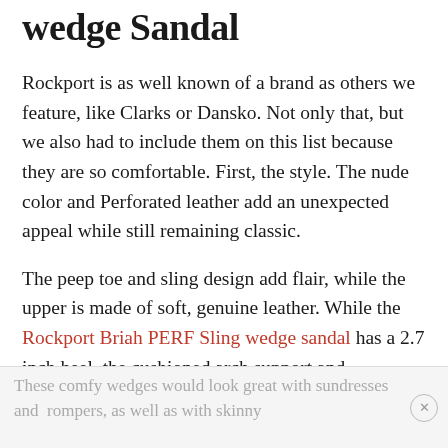wedge Sandal
Rockport is as well known of a brand as others we feature, like Clarks or Dansko. Not only that, but we also had to include them on this list because they are so comfortable. First, the style. The nude color and Perforated leather add an unexpected appeal while still remaining classic.
The peep toe and sling design add flair, while the upper is made of soft, genuine leather. While the Rockport Briah PERF Sling wedge sandal has a 2.7 inch heel, the cushioned arch support and comfortable footbed will cushion your feet for all-day wear.
These comfy wedges would look great with sundresses and  rompers, as well as with skinny